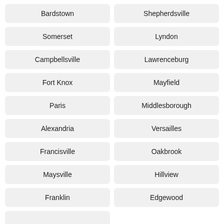Bardstown
Shepherdsville
Somerset
Lyndon
Campbellsville
Lawrenceburg
Fort Knox
Mayfield
Paris
Middlesborough
Alexandria
Versailles
Francisville
Oakbrook
Maysville
Hillview
Franklin
Edgewood